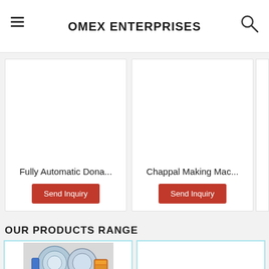OMEX ENTERPRISES
Fully Automatic Dona...
Send Inquiry
Chappal Making Mac...
Send Inquiry
OUR PRODUCTS RANGE
[Figure (photo): Machine/industrial equipment photo in product card]
[Figure (photo): Empty product card placeholder]